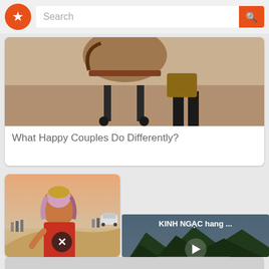Search
[Figure (photo): Photo of a stroller/pram on a sandy surface, lower portion showing legs and baby carriage]
What Happy Couples Do Differently?
[Figure (photo): Photo of a woman in colorful desert attire with headscarf posing on sand dunes, car and people visible in background. Close X button overlay visible.]
Her Waist Is Tri
The Envy Of Ma
[Figure (photo): Video panel overlay showing aerial mountainous landscape with text 'KINH NGAC hang ...' and a play button]
KINH NGAC hang ...